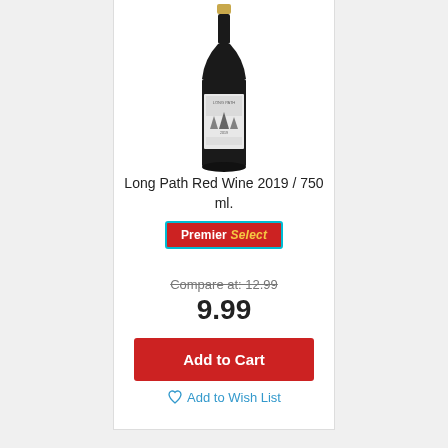[Figure (photo): A dark wine bottle with a label showing Long Path Red Wine, with forest/tree imagery on the label and gold foil top.]
Long Path Red Wine 2019 / 750 ml.
Premier Select
Compare at: 12.99
9.99
Add to Cart
Add to Wish List